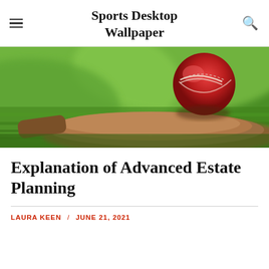Sports Desktop Wallpaper
[Figure (photo): A red cricket ball resting on a cricket bat lying on green grass, close-up shot with blurred background.]
Explanation of Advanced Estate Planning
LAURA KEEN / JUNE 21, 2021